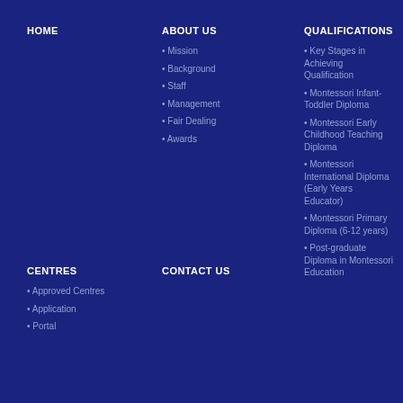HOME
ABOUT US
• Mission
• Background
• Staff
• Management
• Fair Dealing
• Awards
QUALIFICATIONS
• Key Stages in Achieving Qualification
• Montessori Infant-Toddler Diploma
• Montessori Early Childhood Teaching Diploma
• Montessori International Diploma (Early Years Educator)
• Montessori Primary Diploma (6-12 years)
• Post-graduate Diploma in Montessori Education
CENTRES
• Approved Centres
• Application
• Portal
CONTACT US